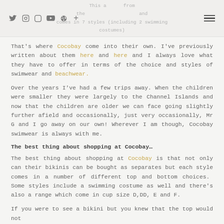Social icons (Twitter, Instagram, Pinterest, YouTube, Facebook, Plus) | header text partially visible | Hamburger menu
That’s where Cocobay come into their own. I’ve previously written about them here and here and I always love what they have to offer in terms of the choice and styles of swimwear and beachwear.
Over the years I’ve had a few trips away. When the children were smaller they were largely to the Channel Islands and now that the children are older we can face going slightly further afield and occasionally, just very occasionally, Mr G and I go away on our own! Wherever I am though, Cocobay swimwear is always with me.
The best thing about shopping at Cocobay…
The best thing about shopping at Cocobay is that not only can their bikinis can be bought as separates but each style comes in a number of different top and bottom choices.  Some styles include a swimming costume as well and there’s also a range which come in cup size D,DD, E and F.
If you were to see a bikini but you knew that the top would not